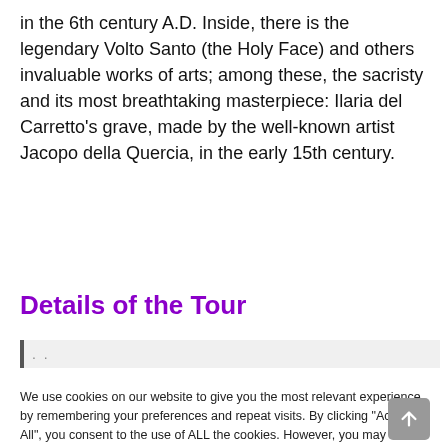in the 6th century A.D. Inside, there is the legendary Volto Santo (the Holy Face) and others invaluable works of arts; among these, the sacristy and its most breathtaking masterpiece: Ilaria del Carretto's grave, made by the well-known artist Jacopo della Quercia, in the early 15th century.
Details of the Tour
We use cookies on our website to give you the most relevant experience by remembering your preferences and repeat visits. By clicking "Accept All", you consent to the use of ALL the cookies. However, you may visit "Cookie Settings" to provide a controlled consent.